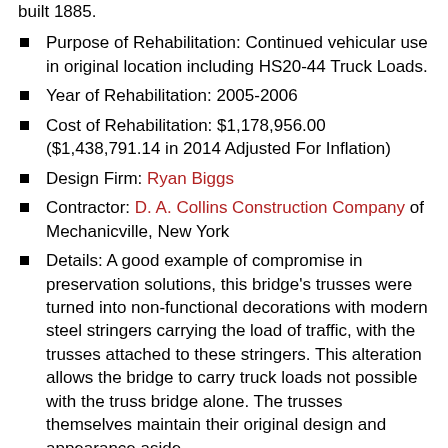built 1885.
Purpose of Rehabilitation: Continued vehicular use in original location including HS20-44 Truck Loads.
Year of Rehabilitation: 2005-2006
Cost of Rehabilitation: $1,178,956.00 ($1,438,791.14 in 2014 Adjusted For Inflation)
Design Firm: Ryan Biggs
Contractor: D. A. Collins Construction Company of Mechanicville, New York
Details: A good example of compromise in preservation solutions, this bridge's trusses were turned into non-functional decorations with modern steel stringers carrying the load of traffic, with the trusses attached to these stringers. This alteration allows the bridge to carry truck loads not possible with the truss bridge alone. The trusses themselves maintain their original design and appearance aside